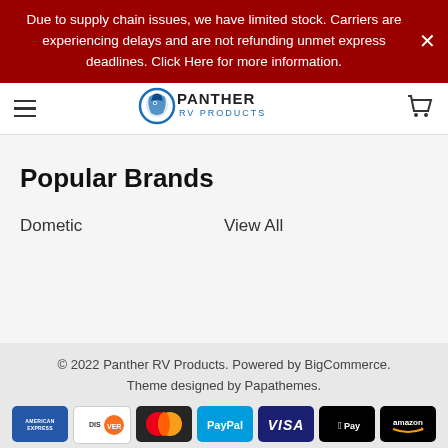Due to supply chain issues, we have limited stock. Carriers are experiencing delays and are not refunding unmet express deadlines. Click Here for more information.
[Figure (logo): Panther RV Products logo with stylized panther head and text]
Popular Brands
Dometic
View All
© 2022 Panther RV Products. Powered by BigCommerce. Theme designed by Papathemes.
[Figure (infographic): Payment method icons: American Express, Discover, Mastercard, PayPal, Visa, Apple Pay, Amazon Pay, Google Pay]